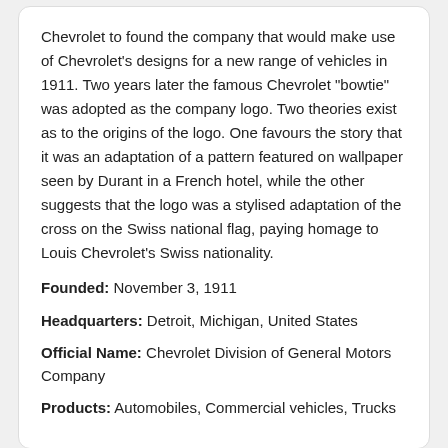Chevrolet to found the company that would make use of Chevrolet's designs for a new range of vehicles in 1911. Two years later the famous Chevrolet "bowtie" was adopted as the company logo. Two theories exist as to the origins of the logo. One favours the story that it was an adaptation of a pattern featured on wallpaper seen by Durant in a French hotel, while the other suggests that the logo was a stylised adaptation of the cross on the Swiss national flag, paying homage to Louis Chevrolet's Swiss nationality.
Founded: November 3, 1911
Headquarters: Detroit, Michigan, United States
Official Name: Chevrolet Division of General Motors Company
Products: Automobiles, Commercial vehicles, Trucks
Checklist before renting a Chevrolet in Dubai
Tips for driving a Chevrolet car in Dubai, UAE